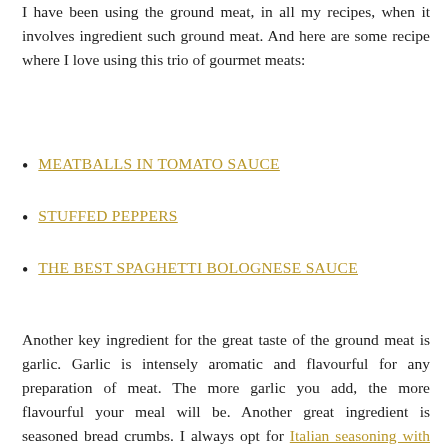I have been using the ground meat, in all my recipes, when it involves ingredient such ground meat. And here are some recipe where I love using this trio of gourmet meats:
MEATBALLS IN TOMATO SAUCE
STUFFED PEPPERS
THE BEST SPAGHETTI BOLOGNESE SAUCE
Another key ingredient for the great taste of the ground meat is garlic. Garlic is intensely aromatic and flavourful for any preparation of meat. The more garlic you add, the more flavourful your meal will be. Another great ingredient is seasoned bread crumbs. I always opt for Italian seasoning with Romano cheese. If you need breadcrumbs gluten-free, here are gluten-free